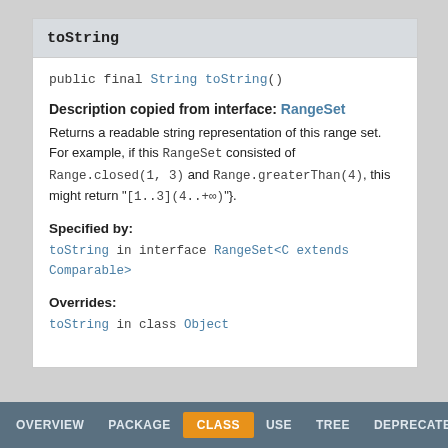toString
public final String toString()
Description copied from interface: RangeSet
Returns a readable string representation of this range set. For example, if this RangeSet consisted of Range.closed(1, 3) and Range.greaterThan(4), this might return "[1..3](4..+∞)"}.
Specified by:
toString in interface RangeSet<C extends Comparable>
Overrides:
toString in class Object
OVERVIEW   PACKAGE   CLASS   USE   TREE   DEPRECATED